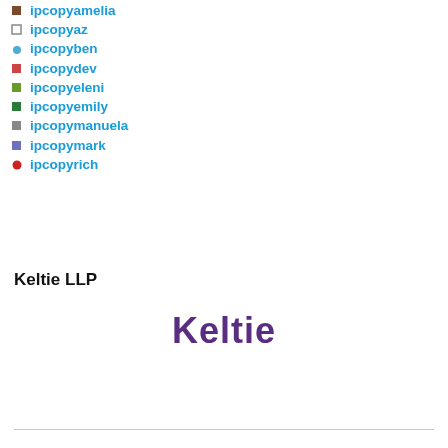ipcopyamelia
ipcopyaz
ipcopyben
ipcopydev
ipcopyeleni
ipcopyemily
ipcopymanuela
ipcopymark
ipcopyrich
Keltie LLP
[Figure (logo): Keltie logo in purple bold text]